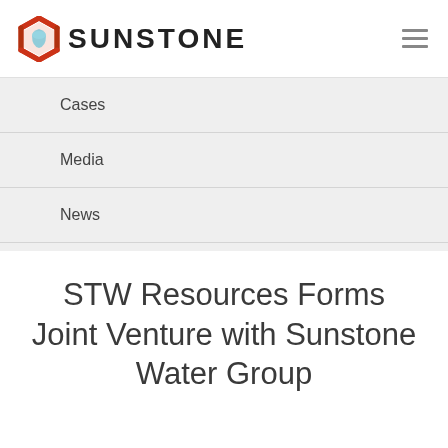[Figure (logo): Sunstone logo: hexagon icon in red/orange with blue water drop, followed by SUNSTONE text in bold dark letters]
Cases
Media
News
STW Resources Forms Joint Venture with Sunstone Water Group